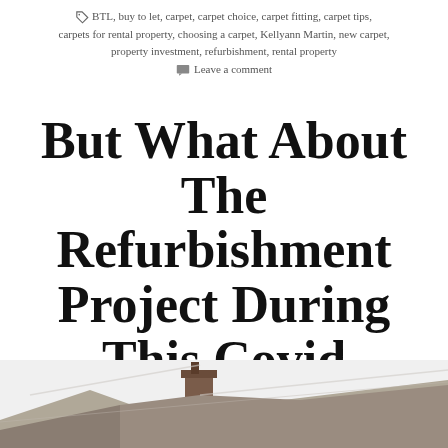BTL, buy to let, carpet, carpet choice, carpet fitting, carpet tips, carpets for rental property, choosing a carpet, Kellyann Martin, new carpet, property investment, refurbishment, rental property
Leave a comment
But What About The Refurbishment Project During This Covid Chaos?
[Figure (photo): Rooftop of a residential house with chimney, viewed from below against a white sky]